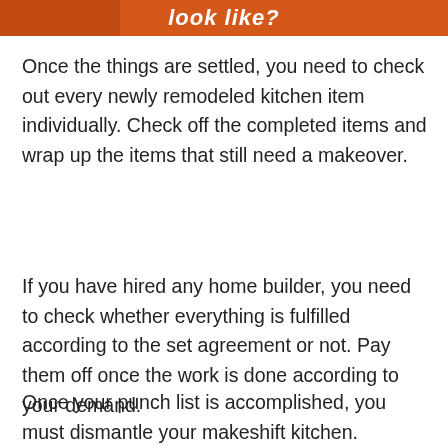look like?
Once the things are settled, you need to check out every newly remodeled kitchen item individually. Check off the completed items and wrap up the items that still need a makeover.
If you have hired any home builder, you need to check whether everything is fulfilled according to the set agreement or not. Pay them off once the work is done according to your demand.
Once your punch list is accomplished, you must dismantle your makeshift kitchen. Resume daily cooking routine in your ideally got brand-new kitchen.